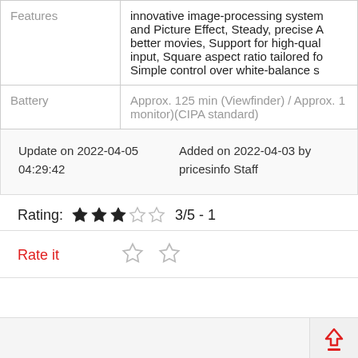|  |  |
| --- | --- |
| Features | innovative image-processing system and Picture Effect, Steady, precise A better movies, Support for high-quality input, Square aspect ratio tailored for Simple control over white-balance s |
| Battery | Approx. 125 min (Viewfinder) / Approx. 1 monitor)(CIPA standard) |
Update on 2022-04-05 04:29:42
Added on 2022-04-03 by pricesinfo Staff
Rating: 3/5 - 1
Rate it